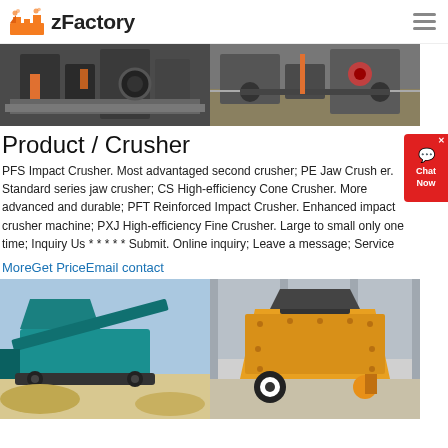zFactory
[Figure (photo): Two side-by-side banner photos of industrial crusher machinery in a factory setting]
Product / Crusher
PFS Impact Crusher. Most advantaged second crusher; PE Jaw Crusher. Standard series jaw crusher; CS High-efficiency Cone Crusher. More advanced and durable; PFT Reinforced Impact Crusher. Enhanced impact crusher machine; PXJ High-efficiency Fine Crusher. Large to small only one time; Inquiry Us * * * * * Submit. Online inquiry; Leave a message; Service
MoreGet PriceEmail contact
[Figure (photo): Left: blue mobile crusher machine on sandy ground. Right: large yellow impact crusher in a warehouse.]